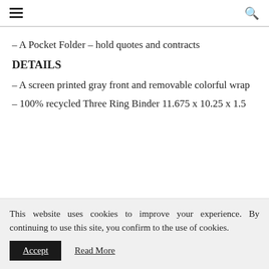≡  🔍
– A Pocket Folder – hold quotes and contracts
DETAILS
– A screen printed gray front and removable colorful wrap
– 100% recycled Three Ring Binder 11.675 x 10.25 x 1.5
This website uses cookies to improve your experience. By continuing to use this site, you confirm to the use of cookies.
Accept   Read More